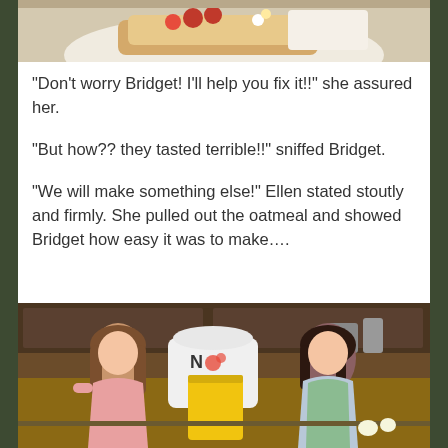[Figure (photo): Top portion of a photo showing a plate with food (appears to be pancakes or similar dish with fruit)]
“Don’t worry Bridget! I’ll help you fix it!!” she assured her.
“But how?? they tasted terrible!!” sniffed Bridget.
“We will make something else!” Ellen stated stoutly and firmly. She pulled out the oatmeal and showed Bridget how easy it was to make….
[Figure (photo): Photo of two dolls in a kitchen setting. One doll with long brown hair in a pink dress, another doll with dark hair wearing an apron. There is a white mixer with flowers on it and a yellow container/bucket between them on the counter.]